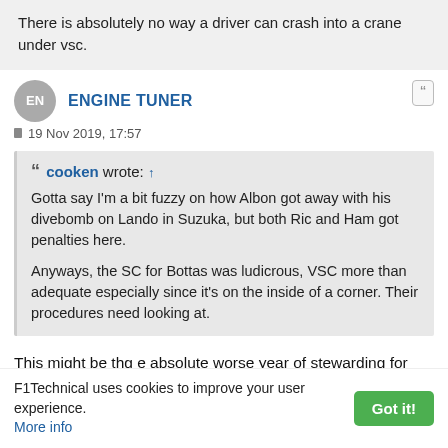There is absolutely no way a driver can crash into a crane under vsc.
ENGINE TUNER
19 Nov 2019, 17:57
cooken wrote: ↑ Gotta say I'm a bit fuzzy on how Albon got away with his divebomb on Lando in Suzuka, but both Ric and Ham got penalties here.

Anyways, the SC for Bottas was ludicrous, VSC more than adequate especially since it's on the inside of a corner. Their procedures need looking at.
This might be thg e absolute worse year of stewarding for F1, and that is saying alot. Just in brazil the gave bad
F1Technical uses cookies to improve your user experience. More info   Got it!